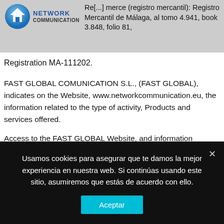Re[...] merce (registro mercantil): Registro Mercantil de Málaga, al tomo 4.941, book 3.848, folio 81, Registration MA-111202.
FAST GLOBAL COMUNICATION S.L., (FAST GLOBAL), indicates on the Website, www.networkcommunication.eu, the information related to the type of activity, Products and services offered.
Access to the FAST GLOBAL Website, and information relating to any of the products and services referred to therein, implies acceptance of the terms and conditions of this legal notice. So
Usamos cookies para asegurar que te damos la mejor experiencia en nuestra web. Si continúas usando este sitio, asumiremos que estás de acuerdo con ello.
Aceptar